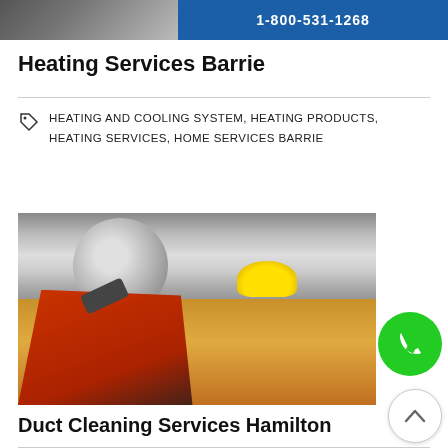[Figure (photo): Partial top banner image showing HVAC equipment and phone number 1-800-531-1268 on blue background]
Heating Services Barrie
HEATING AND COOLING SYSTEM, HEATING PRODUCTS, HEATING SERVICES, HOME SERVICES BARRIE
[Figure (photo): Worker in red shirt and yellow hard hat inspecting or cleaning HVAC ductwork]
Duct Cleaning Services Hamilton